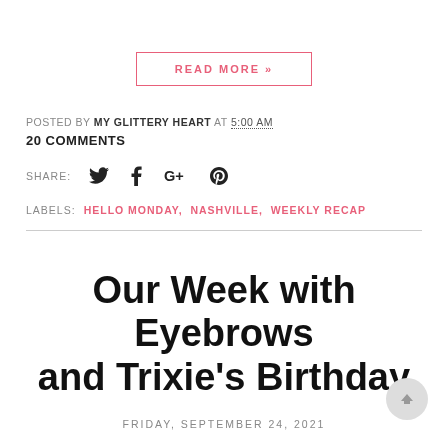READ MORE »
POSTED BY MY GLITTERY HEART AT 5:00 AM
20 COMMENTS
SHARE:
LABELS: HELLO MONDAY, NASHVILLE, WEEKLY RECAP
Our Week with Eyebrows and Trixie's Birthday
FRIDAY, SEPTEMBER 24, 2021